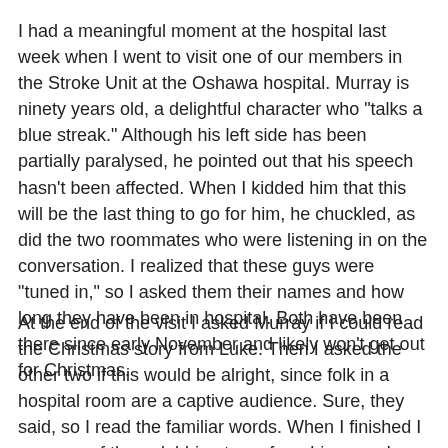I had a meaningful moment at the hospital last week when I went to visit one of our members in the Stroke Unit at the Oshawa hospital. Murray is ninety years old, a delightful character who "talks a blue streak." Although his left side has been partially paralysed, he pointed out that his speech hasn't been affected. When I kidded him that this will be the last thing to go for him, he chuckled, as did the two roommates who were listening in on the conversation. I realized that these guys were "tuned in," so I asked them their names and how long they have been in hospital. Both have been there since early November and likely won't get out for Christmas.
At the end of the visit I asked Murray if I could read the Christmas story from Luke. Then I asked the other two if this would be alright, since folk in a hospital room are a captive audience. Sure, they said, so I read the familiar words. When I finished I saw one of them dabbing tears from his eyes. I seized the moment and asked if they would like to be included in my prayer with Murray. Yes, they replied, and I did not for the hand...